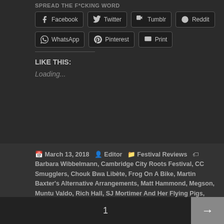SPREAD THE FUCKING WORD
[Figure (other): Share buttons: Facebook, Twitter, Tumblr, Reddit, WhatsApp, Pinterest, Print]
LIKE THIS:
Loading...
March 13, 2018  Editor  Festival Reviews  Barbara Wibbelmann, Cambridge City Roots Festival, CC Smugglers, Chouk Bwa Libète, Frog On A Bike, Martin Baxter's Alternative Arrangements, Matt Hammond, Megson, Muntu Valdo, Rich Hall, SJ Mortimer And Her Flying Pigs, Sona Jobarteh, Su O'Brien, Tom Robinson, Ward Thomas, Wildwood Kin, Wilko Johnson
1  →